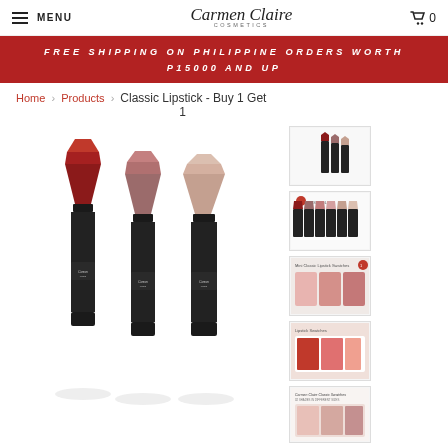MENU | Carmen Claire Cosmetics | Cart 0
FREE SHIPPING ON PHILIPPINE ORDERS WORTH P15000 AND UP
Home > Products > Classic Lipstick - Buy 1 Get 1
[Figure (photo): Three Carmen Claire Classic Lipsticks in dark red, mauve, and nude shades with black packaging, displayed standing upright]
[Figure (photo): Thumbnail: three lipsticks grouped together]
[Figure (photo): Thumbnail: row of multiple lipsticks showing color range]
[Figure (photo): Thumbnail: lipstick swatches on skin - pink shades]
[Figure (photo): Thumbnail: lipstick swatches on skin - red/coral shades]
[Figure (photo): Thumbnail: Carmen Claire Classic Swatches text with swatches]